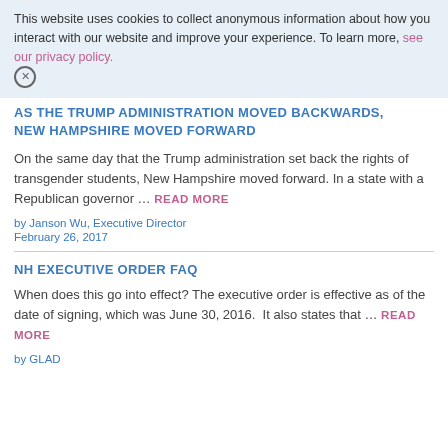This website uses cookies to collect anonymous information about how you interact with our website and improve your experience. To learn more, see our privacy policy.
AS THE TRUMP ADMINISTRATION MOVED BACKWARDS, NEW HAMPSHIRE MOVED FORWARD
On the same day that the Trump administration set back the rights of transgender students, New Hampshire moved forward. In a state with a Republican governor … READ MORE
by Janson Wu, Executive Director
February 26, 2017
NH EXECUTIVE ORDER FAQ
When does this go into effect? The executive order is effective as of the date of signing, which was June 30, 2016.  It also states that … READ MORE
by GLAD